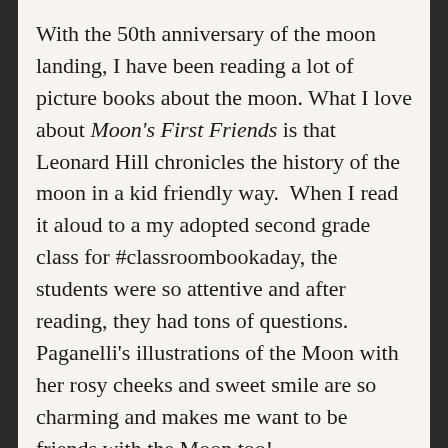With the 50th anniversary of the moon landing, I have been reading a lot of picture books about the moon. What I love about Moon's First Friends is that Leonard Hill chronicles the history of the moon in a kid friendly way.  When I read it aloud to a my adopted second grade class for #classroombookaday, the students were so attentive and after reading, they had tons of questions.  Paganelli's illustrations of the Moon with her rosy cheeks and sweet smile are so charming and makes me want to be friends with the Moon too!
The picture book also includes back matter about NASA, the Apollo 11 Voyage, and the stages of the Saturn V rocket.  An added bonus are QR codes on the end pages that can be scanned to hear the countdown to Apollo's liftoff and Neil Armstrong's